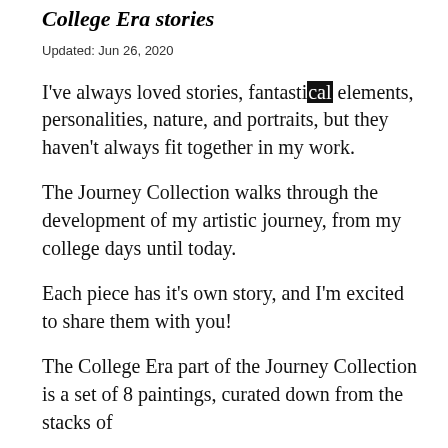College Era stories
Updated: Jun 26, 2020
I've always loved stories, fantastical elements, personalities, nature, and portraits, but they haven't always fit together in my work.
The Journey Collection walks through the development of my artistic journey, from my college days until today.
Each piece has it's own story, and I'm excited to share them with you!
The College Era part of the Journey Collection is a set of 8 paintings, curated down from the stacks of